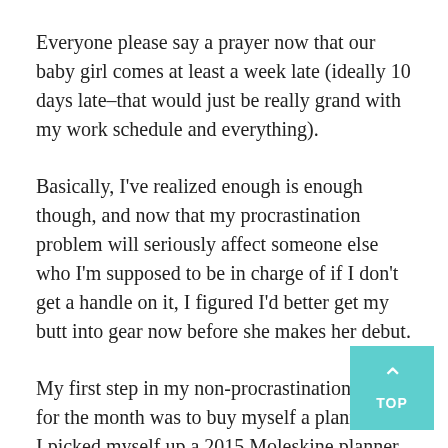Everyone please say a prayer now that our baby girl comes at least a week late (ideally 10 days late–that would just be really grand with my work schedule and everything).
Basically, I've realized enough is enough though, and now that my procrastination problem will seriously affect someone else who I'm supposed to be in charge of if I don't get a handle on it, I figured I'd better get my butt into gear now before she makes her debut.
My first step in my non-procrastination goal for the month was to buy myself a planner, so I picked myself up a 2015 Moleskine planner from Am... and have been planning out my weeks using three different...